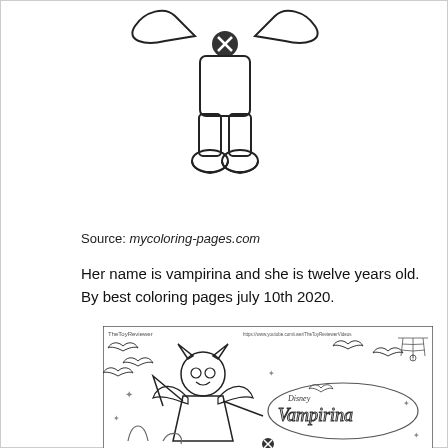[Figure (illustration): Coloring page illustration: partial view of a Vampirina character, showing lower body with boots and a bat-shaped element above, with an X/cross button icon in the center.]
Source: mycoloring-pages.com
Her name is vampirina and she is twelve years old. By best coloring pages july 10th 2020.
[Figure (illustration): Coloring page from Disney Vampirina showing the character Vampirina with vampire wings, bats flying around, stars, a spider web in the corner, and the Disney Vampirina logo. Watermarks: 'TheToyReviewer' and 'https://www.youtube.com/user/TheToyReviewerVideos'.]